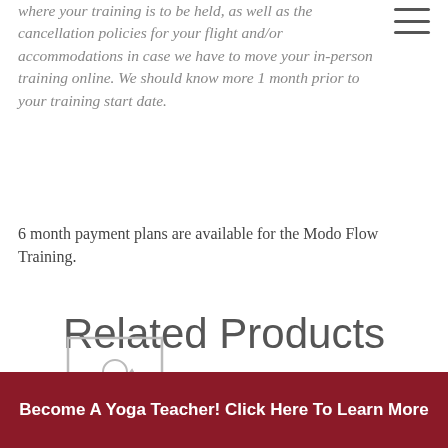where your training is to be held, as well as the cancellation policies for your flight and/or accommodations in case we have to move your in-person training online. We should know more 1 month prior to your training start date.
6 month payment plans are available for the Modo Flow Training.
Related Products
[Figure (illustration): Placeholder image icon (gray image placeholder with mountain/landscape silhouette and circle) inside a white card with border]
[Figure (illustration): Circular light blue illustration of a yoga practitioner in a seated/reclined pose, white line art on blue background]
Become A Yoga Teacher! Click Here To Learn More